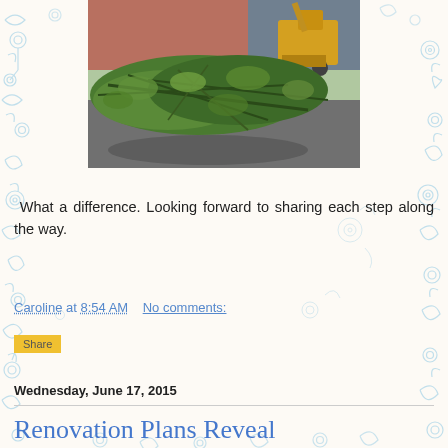[Figure (photo): Fallen tree branches and debris on a driveway with a construction vehicle in the background, in front of a house.]
What a difference. Looking forward to sharing each step along the way.
Caroline at 8:54 AM    No comments:
Share
Wednesday, June 17, 2015
Renovation Plans Reveal